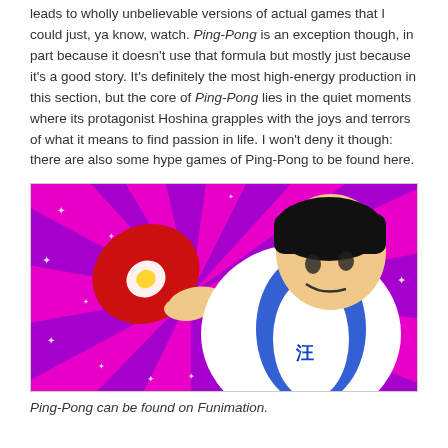leads to wholly unbelievable versions of actual games that I could just, ya know, watch. Ping-Pong is an exception though, in part because it doesn't use that formula but mostly just because it's a good story. It's definitely the most high-energy production in this section, but the core of Ping-Pong lies in the quiet moments where its protagonist Hoshina grapples with the joys and terrors of what it means to find passion in life. I won't deny it though: there are also some hype games of Ping-Pong to be found here.
[Figure (illustration): Anime-style illustration of a table tennis player mid-swing with a red paddle, against a vivid magenta and purple radial burst background with white stars.]
Ping-Pong can be found on Funimation.